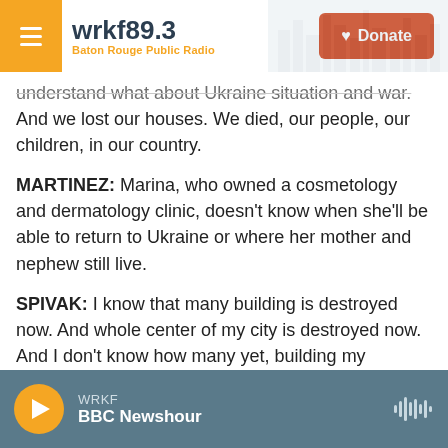wrkf89.3 Baton Rouge Public Radio | Donate
understand what about Ukraine situation and war. And we lost our houses. We died, our people, our children, in our country.
MARTINEZ: Marina, who owned a cosmetology and dermatology clinic, doesn't know when she'll be able to return to Ukraine or where her mother and nephew still live.
SPIVAK: I know that many building is destroyed now. And whole center of my city is destroyed now. And I don't know how many yet, building my country. And now I don't what I do in the future.
WRKF BBC Newshour